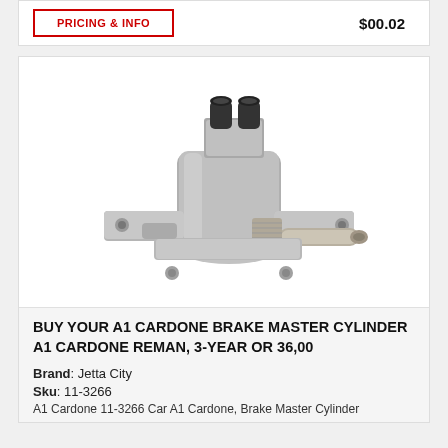PRICING & INFO   $00.02
[Figure (photo): A1 Cardone brake master cylinder, metallic silver/gray part with two black ports on top and a cylindrical output tube on the right side]
BUY YOUR A1 CARDONE BRAKE MASTER CYLINDER A1 CARDONE REMAN, 3-YEAR OR 36,00
Brand: Jetta City
Sku: 11-3266
A1 Cardone 11-3266 Car A1 Cardone, Brake Master Cylinder